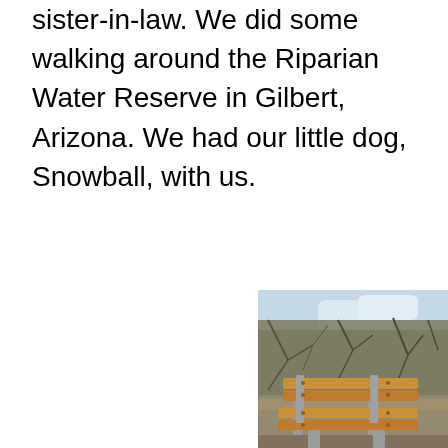sister-in-law. We did some walking around the Riparian Water Reserve in Gilbert, Arizona. We had our little dog, Snowball, with us.
[Figure (photo): Outdoor photo showing a wooden park bench with tan/brown slats and grey metal legs, set against a background of bare-branched trees and a partly cloudy blue sky. The scene appears to be at a nature reserve.]